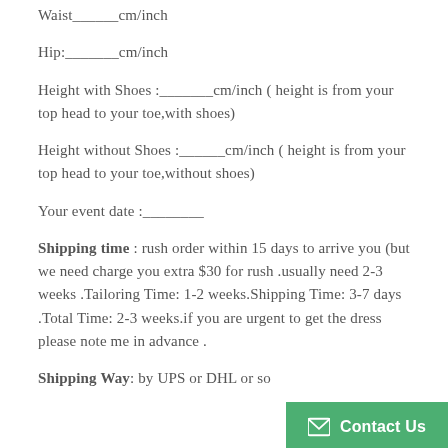Waist______cm/inch
Hip:_______cm/inch
Height with Shoes :_______cm/inch ( height is from your top head to your toe,with shoes)
Height without Shoes :______cm/inch ( height is from your top head to your toe,without shoes)
Your event date :________
Shipping time : rush order within 15 days to arrive you (but we need charge you extra $30 for rush .usually need 2-3 weeks .Tailoring Time: 1-2 weeks.Shipping Time: 3-7 days .Total Time: 2-3 weeks.if you are urgent to get the dress please note me in advance .
Shipping Way: by UPS or DHL or so